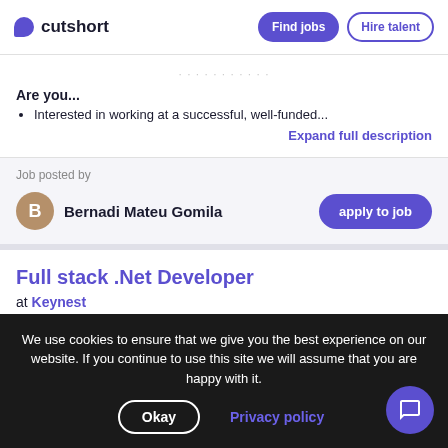cutshort | Find jobs | Hire talent
Are you...
Interested in working at a successful, well-funded...
Expand full description
Job posted by
Bernadi Mateu Gomila
apply to job
Full stack .Net Developer
at Keynest
Founded 2017  •  Products and services  •  20-100 employees  •
We use cookies to ensure that we give you the best experience on our website. If you continue to use this site we will assume that you are happy with it.
Okay | Privacy policy